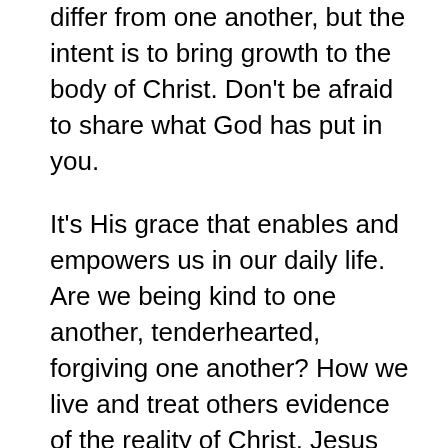differ from one another, but the intent is to bring growth to the body of Christ. Don't be afraid to share what God has put in you.
It's His grace that enables and empowers us in our daily life. Are we being kind to one another, tenderhearted, forgiving one another? How we live and treat others evidence of the reality of Christ. Jesus said the world would know we are His because of our love for one another. Love suffers long.
As humans, each of us is skilled for work. As believers, our work is redeemed. We can use our hands to do what is right, and our work's fruit is used to help others.
What is your work? I think it's good to reflect on what you have and see how you can do what you do with more excellence. Here's my list of skills and work